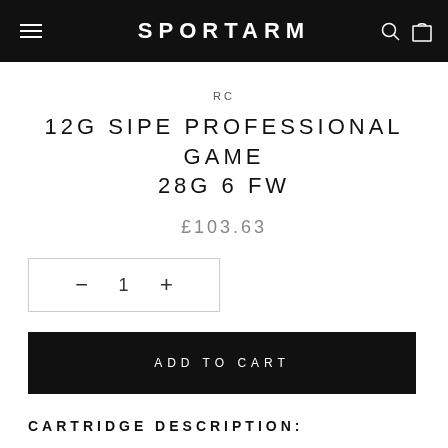SPORTARM
RC
12G SIPE PROFESSIONAL GAME 28G 6 FW
£103.63
− 1 +
ADD TO CART
CARTRIDGE DESCRIPTION: